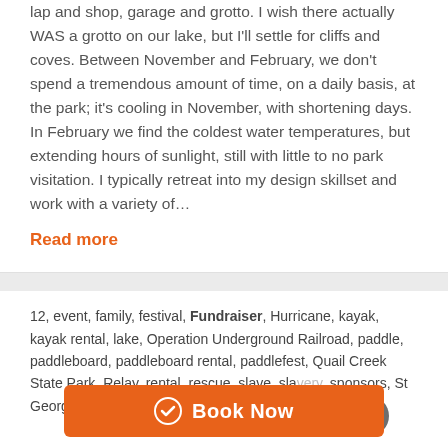lap and shop, garage and grotto. I wish there actually WAS a grotto on our lake, but I'll settle for cliffs and coves. Between November and February, we don't spend a tremendous amount of time, on a daily basis, at the park; it's cooling in November, with shortening days. In February we find the coldest water temperatures, but extending hours of sunlight, still with little to no park visitation. I typically retreat into my design skillset and work with a variety of…
Read more
12, event, family, festival, Fundraiser, Hurricane, kayak, kayak rental, lake, Operation Underground Railroad, paddle, paddleboard, paddleboard rental, paddlefest, Quail Creek State Park, Relay, rental, rescue, slave, slavery, sponsors, St George, Utah, Zion National Park · October 04, 20...
Free Event - Paddle & Play